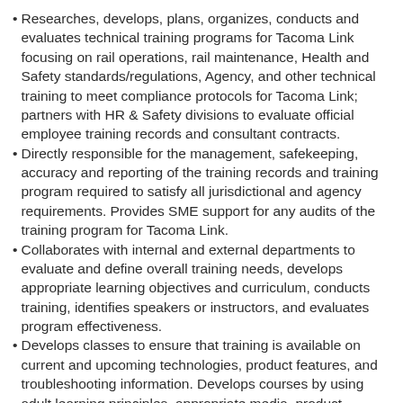Researches, develops, plans, organizes, conducts and evaluates technical training programs for Tacoma Link focusing on rail operations, rail maintenance, Health and Safety standards/regulations, Agency, and other technical training to meet compliance protocols for Tacoma Link; partners with HR & Safety divisions to evaluate official employee training records and consultant contracts.
Directly responsible for the management, safekeeping, accuracy and reporting of the training records and training program required to satisfy all jurisdictional and agency requirements. Provides SME support for any audits of the training program for Tacoma Link.
Collaborates with internal and external departments to evaluate and define overall training needs, develops appropriate learning objectives and curriculum, conducts training, identifies speakers or instructors, and evaluates program effectiveness.
Develops classes to ensure that training is available on current and upcoming technologies, product features, and troubleshooting information. Develops courses by using adult learning principles, appropriate media, product information, and